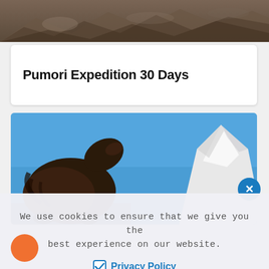[Figure (photo): Rocky mountain terrain photo at the top of the page]
Pumori Expedition 30 Days
[Figure (photo): A yak with open mouth in the foreground with a snow-capped mountain peak in the background under a blue sky]
We use cookies to ensure that we give you the best experience on our website.
Privacy Policy
Allow Cookies